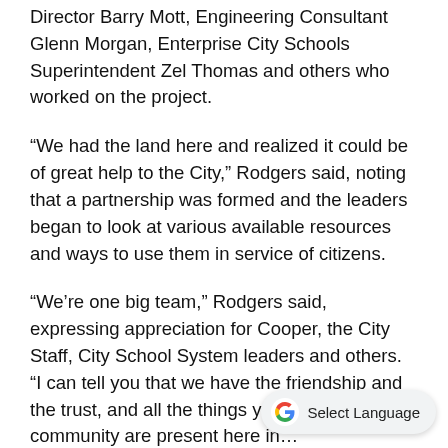Director Barry Mott, Engineering Consultant Glenn Morgan, Enterprise City Schools Superintendent Zel Thomas and others who worked on the project.
“We had the land here and realized it could be of great help to the City,” Rodgers said, noting that a partnership was formed and the leaders began to look at various available resources and ways to use them in service of citizens.
“We’re one big team,” Rodgers said, expressing appreciation for Cooper, the City Staff, City School System leaders and others. “I can tell you that we have the friendship and the trust, and all the things you need to build a community are present here in…
[Figure (other): Google Translate 'Select Language' widget button in bottom right corner]